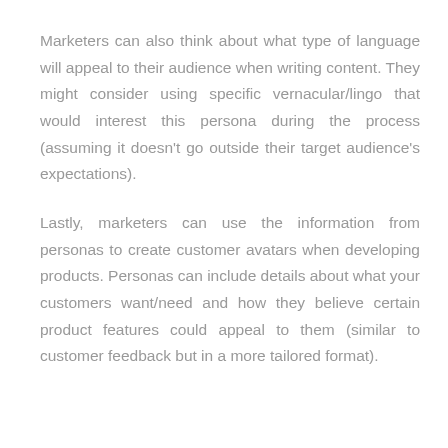Marketers can also think about what type of language will appeal to their audience when writing content. They might consider using specific vernacular/lingo that would interest this persona during the process (assuming it doesn't go outside their target audience's expectations).
Lastly, marketers can use the information from personas to create customer avatars when developing products. Personas can include details about what your customers want/need and how they believe certain product features could appeal to them (similar to customer feedback but in a more tailored format).